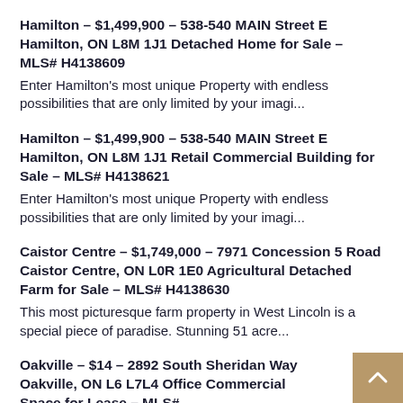Hamilton - $1,499,900 - 538-540 MAIN Street E Hamilton, ON L8M 1J1 Detached Home for Sale - MLS# H4138609
Enter Hamilton's most unique Property with endless possibilities that are only limited by your imagi...
Hamilton - $1,499,900 - 538-540 MAIN Street E Hamilton, ON L8M 1J1 Retail Commercial Building for Sale - MLS# H4138621
Enter Hamilton's most unique Property with endless possibilities that are only limited by your imagi...
Caistor Centre - $1,749,000 - 7971 Concession 5 Road Caistor Centre, ON L0R 1E0 Agricultural Detached Farm for Sale - MLS# H4138630
This most picturesque farm property in West Lincoln is a special piece of paradise. Stunning 51 acre...
Oakville - $14 - 2892 South Sheridan Way Oakville, ON L6 L7L4 Office Commercial Space for Lease - MLS#